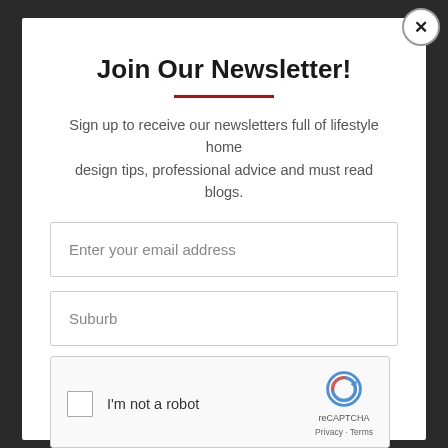Join Our Newsletter!
Sign up to receive our newsletters full of lifestyle home design tips, professional advice and must read blogs.
Enter your email address
Suburb
[Figure (screenshot): reCAPTCHA widget with checkbox labeled 'I'm not a robot', reCAPTCHA logo, and Privacy/Terms links]